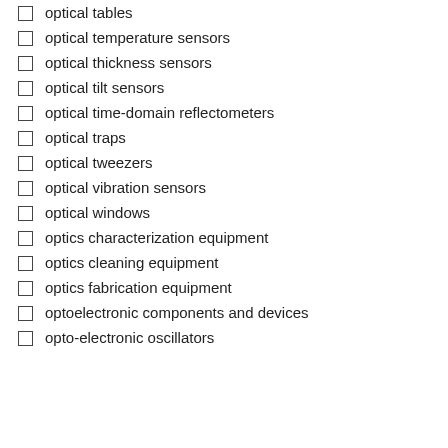optical tables
optical temperature sensors
optical thickness sensors
optical tilt sensors
optical time-domain reflectometers
optical traps
optical tweezers
optical vibration sensors
optical windows
optics characterization equipment
optics cleaning equipment
optics fabrication equipment
optoelectronic components and devices
opto-electronic oscillators